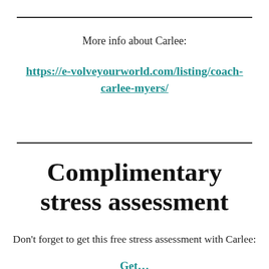More info about Carlee:
https://e-volveyourworld.com/listing/coach-carlee-myers/
Complimentary stress assessment
Don't forget to get this free stress assessment with Carlee: